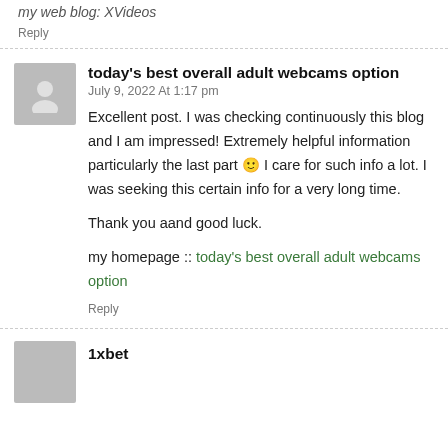my web blog: XVideos
Reply
today's best overall adult webcams option
July 9, 2022 At 1:17 pm
Excellent post. I was checking continuously this blog and I am impressed! Extremely helpful information particularly the last part 🙂 I care for such info a lot. I was seeking this certain info for a very long time.

Thank you aand good luck.

my homepage :: today's best overall adult webcams option
Reply
1xbet